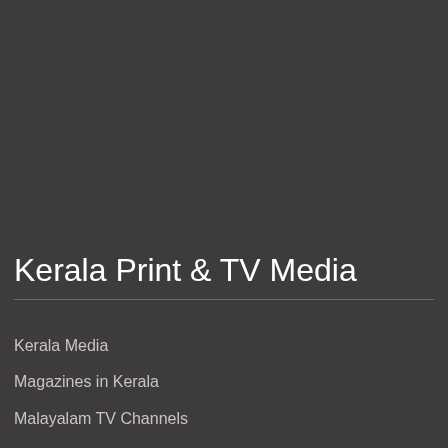Kerala Print & TV Media
Kerala Media
Magazines in Kerala
Malayalam TV Channels